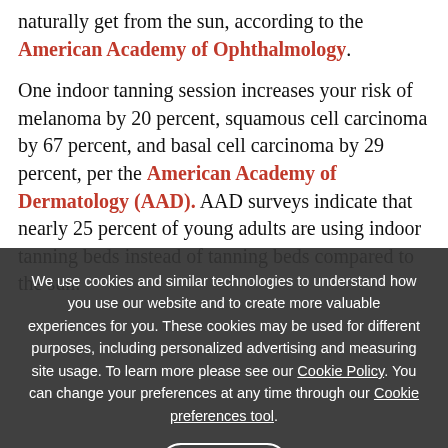naturally get from the sun, according to the American Academy of Ophthalmology.
One indoor tanning session increases your risk of melanoma by 20 percent, squamous cell carcinoma by 67 percent, and basal cell carcinoma by 29 percent, per the American Academy of Dermatology (AAD). AAD surveys indicate that nearly 25 percent of young adults are using indoor tanning beds instead of tanning beds compared to the sun.
3 Sunburn Is No Big Deal
If you spend too much time in the sun, your unprotected skin will either burn or develop a tan. While sunburn is usually painful and unsightly, tans are typically
We use cookies and similar technologies to understand how you use our website and to create more valuable experiences for you. These cookies may be used for different purposes, including personalized advertising and measuring site usage. To learn more please see our Cookie Policy. You can change your preferences at any time through our Cookie preferences tool.